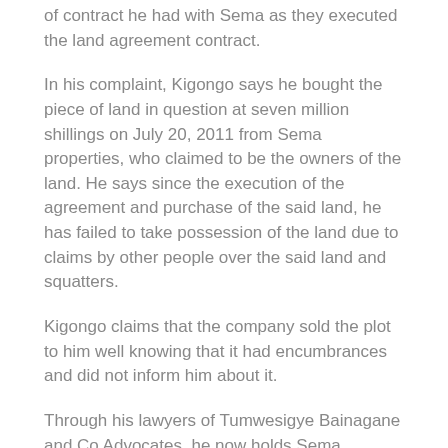of contract he had with Sema as they executed the land agreement contract.
In his complaint, Kigongo says he bought the piece of land in question at seven million shillings on July 20, 2011 from Sema properties, who claimed to be the owners of the land. He says since the execution of the agreement and purchase of the said land, he has failed to take possession of the land due to claims by other people over the said land and squatters.
Kigongo claims that the company sold the plot to him well knowing that it had encumbrances and did not inform him about it.
Through his lawyers of Tumwesigye Bainagane and Co Advocates, he now holds Sema Properties liable for his losses after the construction process he had started was halted and his construction materials destroyed by unknown people claiming to